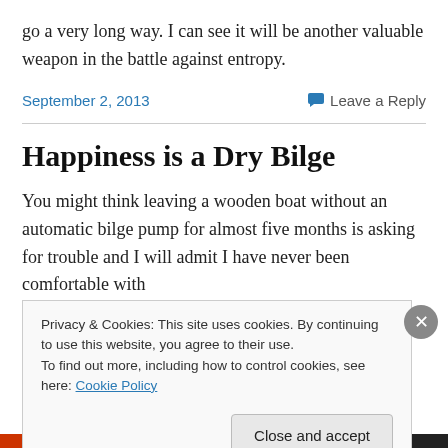go a very long way. I can see it will be another valuable weapon in the battle against entropy.
September 2, 2013
Leave a Reply
Happiness is a Dry Bilge
You might think leaving a wooden boat without an automatic bilge pump for almost five months is asking for trouble and I will admit I have never been comfortable with
Privacy & Cookies: This site uses cookies. By continuing to use this website, you agree to their use.
To find out more, including how to control cookies, see here: Cookie Policy
Close and accept